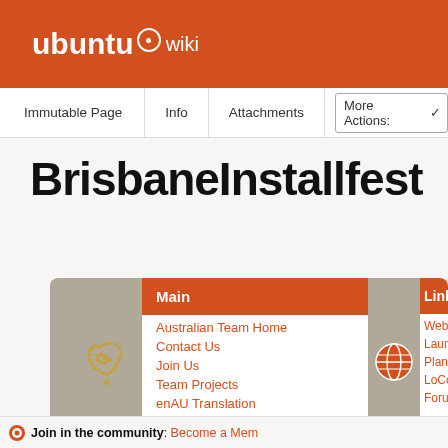ubuntu wiki
Immutable Page | Info | Attachments | More Actions:
BrisbaneInstallfest
[Figure (screenshot): Ubuntu Australia LoCo team navigation panel with map icon, showing links: Main - Australian Team Home, Contact Us, Join Us, Team Projects, enAU Translation. Partially visible second panel with Links section showing web, Launchpad, Planet, LoCo, Forum links.]
Join in the community: Become a Mem...